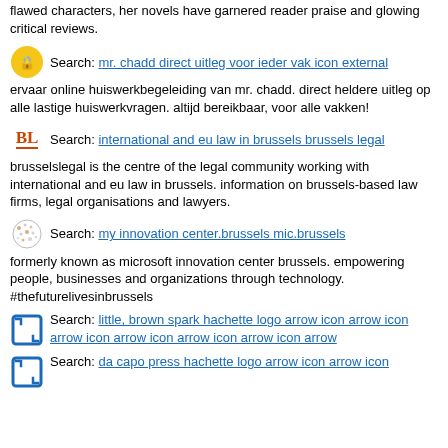flawed characters, her novels have garnered reader praise and glowing critical reviews.
Search: mr. chadd direct uitleg voor ieder vak icon external
ervaar online huiswerkbegeleiding van mr. chadd. direct heldere uitleg op alle lastige huiswerkvragen. altijd bereikbaar, voor alle vakken!
Search: international and eu law in brussels brussels legal
brusselslegal is the centre of the legal community working with international and eu law in brussels. information on brussels-based law firms, legal organisations and lawyers.
Search: my innovation center.brussels mic.brussels
formerly known as microsoft innovation center brussels. empowering people, businesses and organizations through technology. #thefuturelivesinbrussels
Search: little, brown spark hachette logo arrow icon arrow icon arrow icon arrow icon arrow icon arrow icon arrow
Search: da capo press hachette logo arrow icon arrow icon